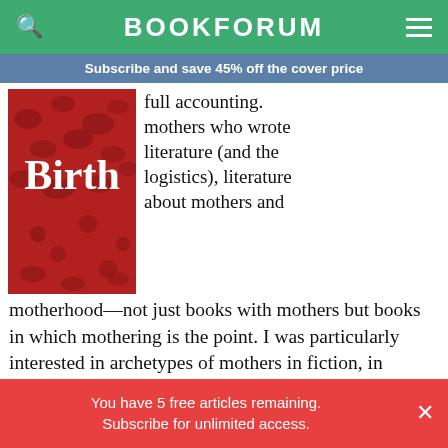BOOKFORUM
Subscribe and save 45% off the cover price
[Figure (photo): Book cover showing the word 'Birth' in large red text on a red floral background]
full accounting. mothers who wrote literature (and the logistics), literature about mothers and motherhood—not just books with mothers but books in which mothering is the point. I was particularly interested in archetypes of mothers in fiction, in whether there were any dramatic structures inherent to motherhood that could make or had made great complex stories. My questions
You have 5 free articles remaining. Subscribe for unlimited access.